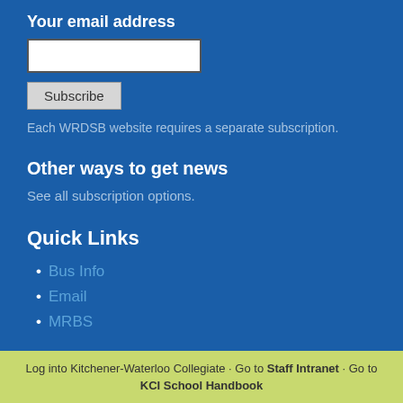Your email address
Subscribe
Each WRDSB website requires a separate subscription.
Other ways to get news
See all subscription options.
Quick Links
Bus Info
Email
MRBS
Log into Kitchener-Waterloo Collegiate · Go to Staff Intranet · Go to KCI School Handbook